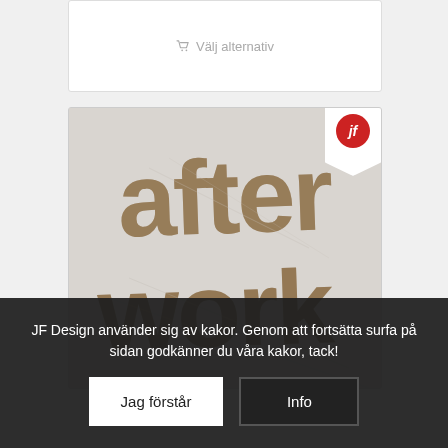[Figure (screenshot): White card with grey 'Välj alternativ' (Choose option) button with shopping cart icon]
[Figure (photo): Product image showing distressed wooden typography reading 'after work' in large bold brown letters on a light grey background, with a JF Design logo badge (red circle with white 'jf' italic text) in the top right corner]
JF Design använder sig av kakor. Genom att fortsätta surfa på sidan godkänner du våra kakor, tack!
Jag förstår
Info